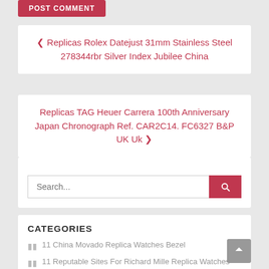POST COMMENT
‹ Replicas Rolex Datejust 31mm Stainless Steel 278344rbr Silver Index Jubilee China
Replicas TAG Heuer Carrera 100th Anniversary Japan Chronograph Ref. CAR2C14. FC6327 B&P UK Uk ›
Search...
CATEGORIES
11 China Movado Replica Watches Bezel
11 Reputable Sites For Richard Mille Replica Watches Strip